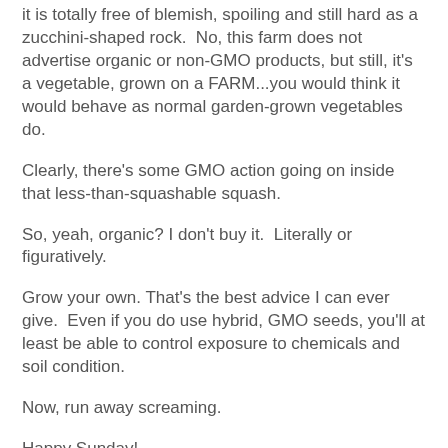it is totally free of blemish, spoiling and still hard as a zucchini-shaped rock. No, this farm does not advertise organic or non-GMO products, but still, it's a vegetable, grown on a FARM...you would think it would behave as normal garden-grown vegetables do.
Clearly, there's some GMO action going on inside that less-than-squashable squash.
So, yeah, organic? I don't buy it. Literally or figuratively.
Grow your own. That's the best advice I can ever give. Even if you do use hybrid, GMO seeds, you'll at least be able to control exposure to chemicals and soil condition.
Now, run away screaming.
Happy Sunday!
If you want to see what became of these items, go HERE!